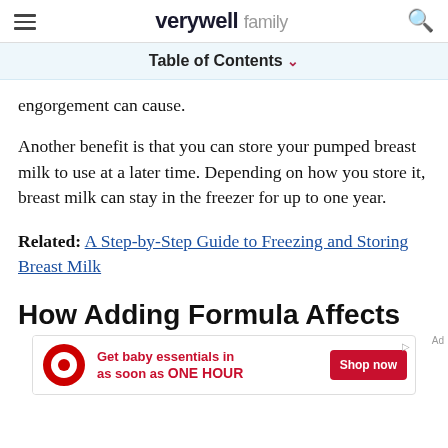verywell family
Table of Contents
engorgement can cause.
Another benefit is that you can store your pumped breast milk to use at a later time. Depending on how you store it, breast milk can stay in the freezer for up to one year.
Related: A Step-by-Step Guide to Freezing and Storing Breast Milk
How Adding Formula Affects
[Figure (other): Target advertisement banner: Get baby essentials in as soon as ONE HOUR. Shop now button.]